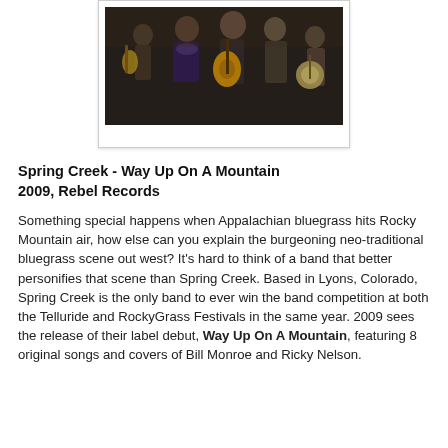[Figure (photo): A group of bluegrass musicians performing together, holding instruments including guitars, a mandolin, and a banjo. They are dressed in vintage-style clothing against a dark background.]
Spring Creek - Way Up On A Mountain 2009, Rebel Records
Something special happens when Appalachian bluegrass hits Rocky Mountain air, how else can you explain the burgeoning neo-traditional bluegrass scene out west? It's hard to think of a band that better personifies that scene than Spring Creek. Based in Lyons, Colorado, Spring Creek is the only band to ever win the band competition at both the Telluride and RockyGrass Festivals in the same year. 2009 sees the release of their label debut, Way Up On A Mountain, featuring 8 original songs and covers of Bill Monroe and Ricky Nelson.